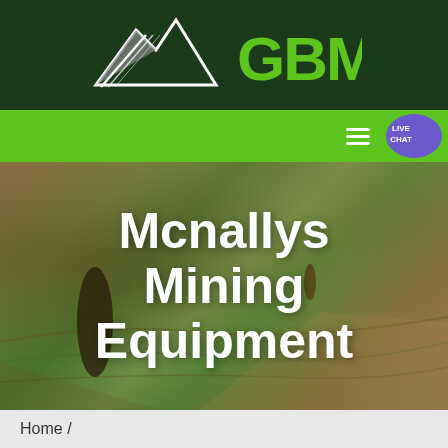[Figure (logo): GBM logo: mountain/arrow graphic in white and grey with green GBM text on dark green background]
[Figure (screenshot): Green navigation bar with hamburger menu icon and Live Chat bubble on right side]
[Figure (photo): Aerial photo of agricultural fields with dramatic lighting showing curved field lines and terrain]
Mcnallys Mining Equipment
Home /